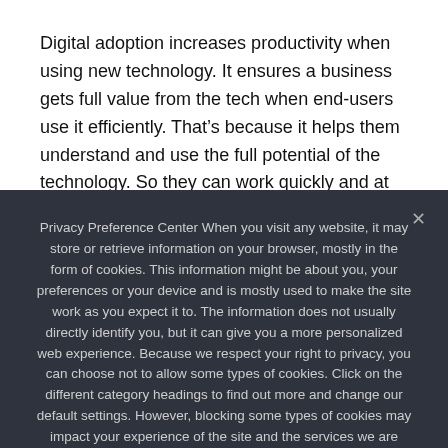Digital adoption increases productivity when using new technology. It ensures a business gets full value from the tech when end-users use it efficiently. That’s because it helps them understand and use the full potential of the technology. So they can work quickly and at their pace.
Privacy Preference Center When you visit any website, it may store or retrieve information on your browser, mostly in the form of cookies. This information might be about you, your preferences or your device and is mostly used to make the site work as you expect it to. The information does not usually directly identify you, but it can give you a more personalized web experience. Because we respect your right to privacy, you can choose not to allow some types of cookies. Click on the different category headings to find out more and change our default settings. However, blocking some types of cookies may impact your experience of the site and the services we are able to offer.
Ok   Privacy policy